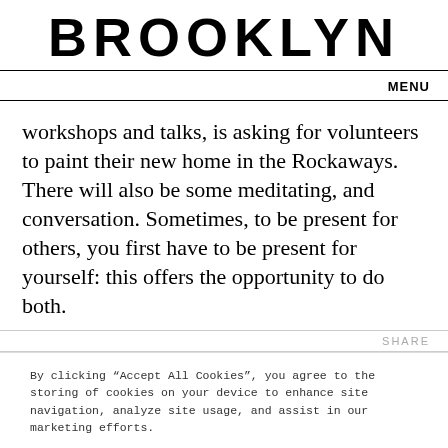BROOKLYN
MENU
workshops and talks, is asking for volunteers to paint their new home in the Rockaways. There will also be some meditating, and conversation. Sometimes, to be present for others, you first have to be present for yourself: this offers the opportunity to do both.
SHARE
By clicking “Accept All Cookies”, you agree to the storing of cookies on your device to enhance site navigation, analyze site usage, and assist in our marketing efforts.
Accept All Cookies